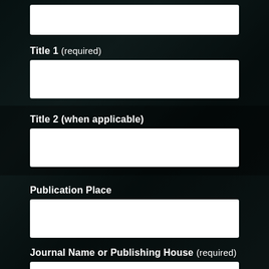[empty input box at top]
Title 1 (required)
[input box]
Title 2 (when applicable)
[input box]
Publication Place
[input box]
Journal Name or Publishing House (required)
[input box]